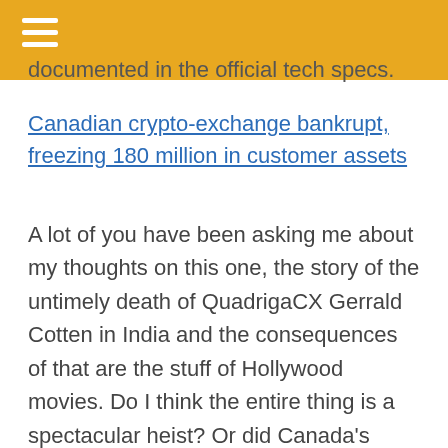documented in the official tech specs.
Canadian crypto-exchange bankrupt, freezing 180 million in customer assets
A lot of you have been asking me about my thoughts on this one, the story of the untimely death of QuadrigaCX Gerrald Cotten in India and the consequences of that are the stuff of Hollywood movies. Do I think the entire thing is a spectacular heist? Or did Canada’s largest crypto-currency exchange really allow their CEO’s personal laptop, which is encrypted, to be a Single-Point-Of-Failure for the entire organization and all its depositors? I really don’t know.